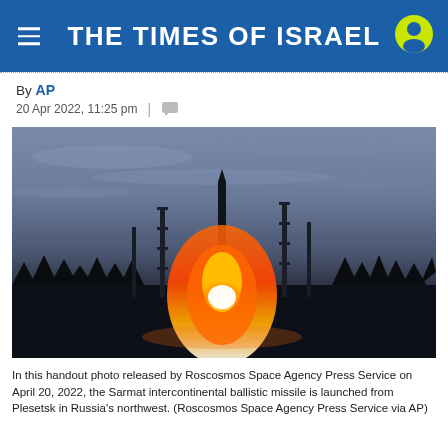THE TIMES OF ISRAEL
By AP
20 Apr 2022, 11:25 pm  |
[Figure (photo): Handout photo released by Roscosmos Space Agency Press Service showing the Sarmat intercontinental ballistic missile launched from Plesetsk in Russia's northwest, with large orange and white fireball at the launch pad surrounded by trees and launch towers, against a dusky sky.]
In this handout photo released by Roscosmos Space Agency Press Service on April 20, 2022, the Sarmat intercontinental ballistic missile is launched from Plesetsk in Russia's northwest. (Roscosmos Space Agency Press Service via AP)